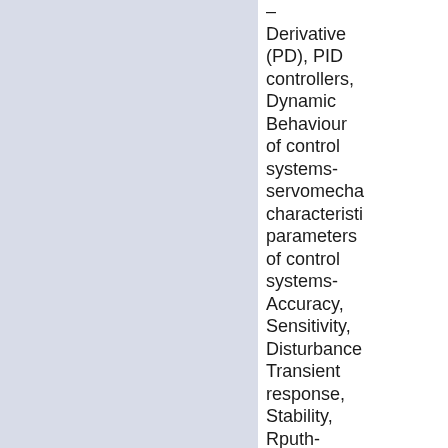– Derivative (PD), PID controllers, Dynamic Behaviour of control systems-servomechanism characteristics parameters of control systems- Accuracy, Sensitivity, Disturbance, Transient response, Stability, Rputh-Hurwitz criterion, Bode plots, Nyquist criterion, Controlling speed. Temperature and